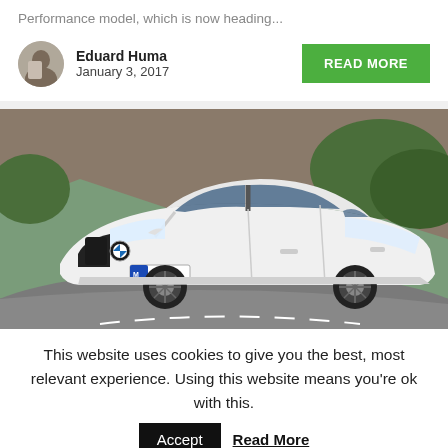Performance model, which is now heading...
Eduard Huma
January 3, 2017
[Figure (photo): White BMW 5 Series sedan on a winding road with rocky hillside and trees in background. License plate reads M DR 6324.]
This website uses cookies to give you the best, most relevant experience. Using this website means you're ok with this.
Accept
Read More